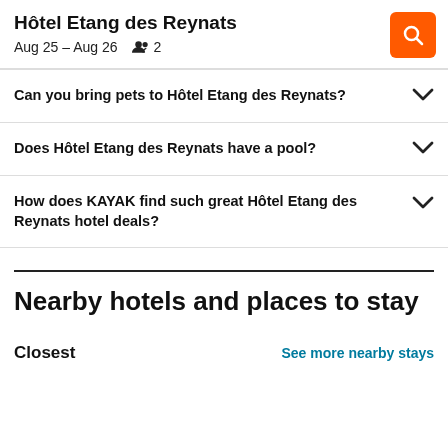Hôtel Etang des Reynats — Aug 25 – Aug 26, 2 guests
Can you bring pets to Hôtel Etang des Reynats?
Does Hôtel Etang des Reynats have a pool?
How does KAYAK find such great Hôtel Etang des Reynats hotel deals?
Nearby hotels and places to stay
Closest
See more nearby stays